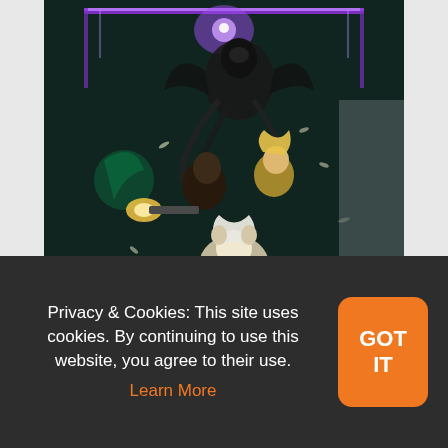[Figure (illustration): Anime illustration showing fantasy characters in action poses: a dark armored villain with tentacles at the top, a blonde girl and a dark-haired boy in the middle fighting, and a white-haired character at the bottom, set against a dark mystical background with purple lighting effects.]
Privacy & Cookies: This site uses cookies. By continuing to use this website, you agree to their use. Learn More
GOT IT